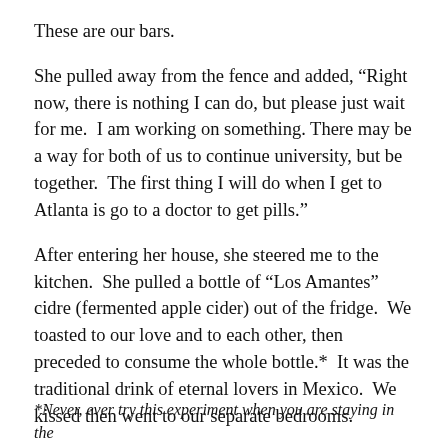These are our bars.
She pulled away from the fence and added, “Right now, there is nothing I can do, but please just wait for me.  I am working on something. There may be a way for both of us to continue university, but be together.  The first thing I will do when I get to Atlanta is go to a doctor to get pills.”
After entering her house, she steered me to the kitchen.  She pulled a bottle of “Los Amantes” cidre (fermented apple cider) out of the fridge.  We toasted to our love and to each other, then preceded to consume the whole bottle.*  It was the traditional drink of eternal lovers in Mexico.  We kissed then went to our separate bedrooms.
*Never, ever try this experiment when you are staying in the